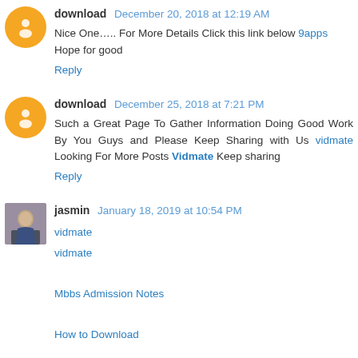download December 20, 2018 at 12:19 AM
Nice One….. For More Details Click this link below 9apps
Hope for good
Reply
download December 25, 2018 at 7:21 PM
Such a Great Page To Gather Information Doing Good Work By You Guys and Please Keep Sharing with Us vidmate Looking For More Posts Vidmate Keep sharing
Reply
jasmin January 18, 2019 at 10:54 PM
vidmate
vidmate
Mbbs Admission Notes
How to Download